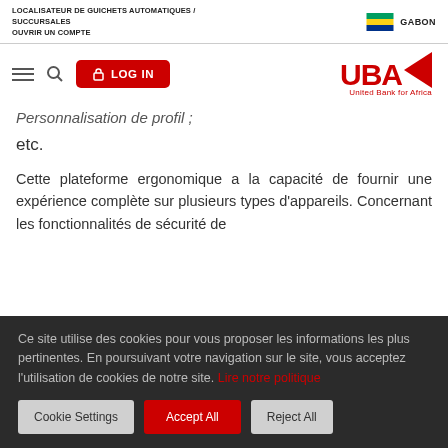LOCALISATEUR DE GUICHETS AUTOMATIQUES / SUCCURSALES
OUVRIR UN COMPTE
GABON
[Figure (logo): UBA United Bank for Africa logo in red]
Personnalisation de profil ;
etc.
Cette plateforme ergonomique a la capacité de fournir une expérience complète sur plusieurs types d'appareils. Concernant les fonctionnalités de sécurité de
Ce site utilise des cookies pour vous proposer les informations les plus pertinentes. En poursuivant votre navigation sur le site, vous acceptez l'utilisation de cookies de notre site. Lire notre politique
Cookie Settings | Accept All | Reject All